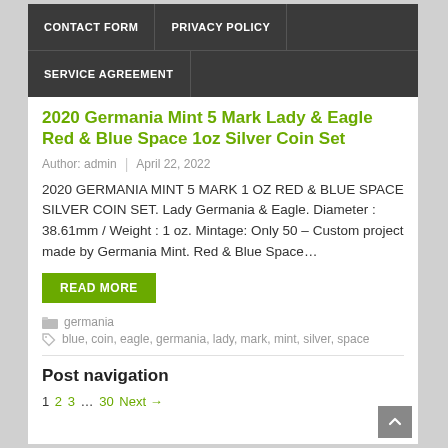CONTACT FORM | PRIVACY POLICY
SERVICE AGREEMENT
2020 Germania Mint 5 Mark Lady & Eagle Red & Blue Space 1oz Silver Coin Set
Author: admin | April 22, 2022
2020 GERMANIA MINT 5 MARK 1 OZ RED & BLUE SPACE SILVER COIN SET. Lady Germania & Eagle. Diameter : 38.61mm / Weight : 1 oz. Mintage: Only 50 – Custom project made by Germania Mint. Red & Blue Space…
READ MORE
germania
blue, coin, eagle, germania, lady, mark, mint, silver, space
Post navigation
1 2 3 … 30 Next →